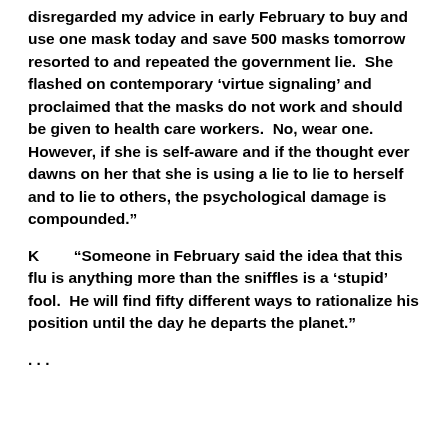disregarded my advice in early February to buy and use one mask today and save 500 masks tomorrow resorted to and repeated the government lie.  She flashed on contemporary ‘virtue signaling’ and proclaimed that the masks do not work and should be given to health care workers.  No, wear one.  However, if she is self-aware and if the thought ever dawns on her that she is using a lie to lie to herself and to lie to others, the psychological damage is compounded.”
K        “Someone in February said the idea that this flu is anything more than the sniffles is a ‘stupid’ fool.  He will find fifty different ways to rationalize his position until the day he departs the planet.”
. . .